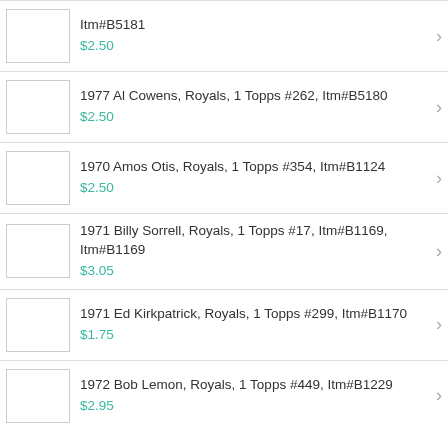Itm#B5181
$2.50
1977 Al Cowens, Royals, 1 Topps #262, Itm#B5180
$2.50
1970 Amos Otis, Royals, 1 Topps #354, Itm#B1124
$2.50
1971 Billy Sorrell, Royals, 1 Topps #17, Itm#B1169, Itm#B1169
$3.05
1971 Ed Kirkpatrick, Royals, 1 Topps #299, Itm#B1170
$1.75
1972 Bob Lemon, Royals, 1 Topps #449, Itm#B1229
$2.95